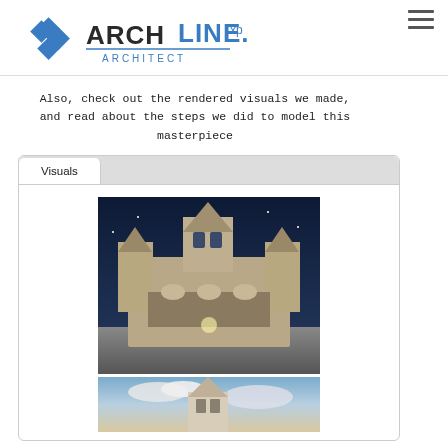ARCHLine.XP Architect logo and navigation
Also, check out the rendered visuals we made, and read about the steps we did to model this masterpiece
[Figure (screenshot): Tab interface with 'Visuals' tab active, containing two rendered images of Fisherman's Bastion: one night view and one daytime view]
[Figure (photo): Night render of Fisherman's Bastion castle with dark blue sky]
[Figure (photo): Daytime render of Fisherman's Bastion tower with cloudy sky]